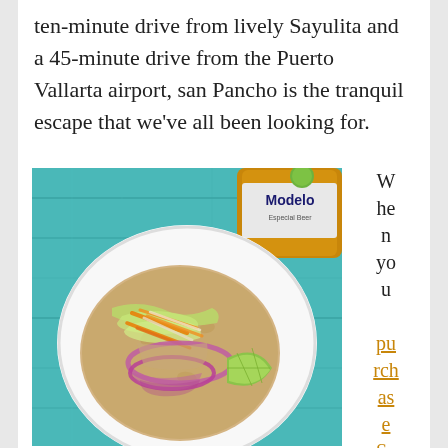ten-minute drive from lively Sayulita and a 45-minute drive from the Puerto Vallarta airport, san Pancho is the tranquil escape that we've all been looking for.
[Figure (photo): Overhead view of a fish taco on a white plate with shredded cabbage, julienned carrots, pickled red onion rings, and a lime wedge, on a teal/turquoise painted wood table. A Modelo beer bottle is visible in the upper right corner.]
When you purchase Sa